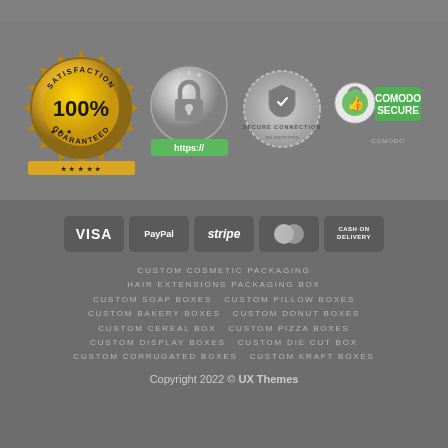[Figure (illustration): Top gray section (partial navigation bar area)]
[Figure (illustration): Four trust/security badges: 100% Satisfaction Guaranteed gold seal, HTTPS padlock badge, Secure Connection stamp, Comodo Secure badge]
[Figure (illustration): Five payment method badges: VISA, PayPal, Stripe, MasterCard, Cash on Delivery]
CUSTOM COSMETIC PACKAGING HAIR EXTENSIONS PACKAGING BOX CUSTOM SOAP BOXES  CUSTOM PILLOW BOXES CUSTOM BAKERY BOXES  CUSTOM DONUT BOXES CUSTOM CEREAL BOX  CUSTOM PIZZA BOXES CUSTOM DISPLAY BOXES  CUSTOM DIE CUT BOX CUSTOM CORRUGATED BOXES  CUSTOM KRAFT BOXES
Copyright 2022 © UX Themes